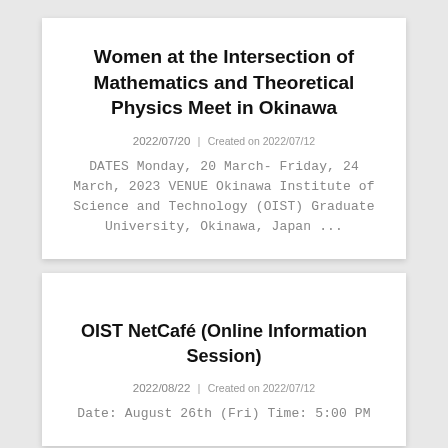Women at the Intersection of Mathematics and Theoretical Physics Meet in Okinawa
2022/07/20 | Created on 2022/07/12
DATES Monday, 20 March- Friday, 24 March, 2023 VENUE Okinawa Institute of Science and Technology (OIST) Graduate University, Okinawa, Japan ...
OIST NetCafé (Online Information Session)
2022/08/22 | Created on 2022/07/12
Date: August 26th (Fri) Time: 5:00 PM